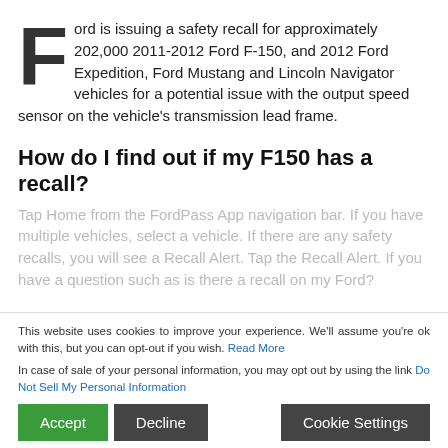Ford is issuing a safety recall for approximately 202,000 2011-2012 Ford F-150, and 2012 Ford Expedition, Ford Mustang and Lincoln Navigator vehicles for a potential issue with the output speed sensor on the vehicle's transmission lead frame.
How do I find out if my F150 has a recall?
Tap Home from the FordPass App navigation bar. If you have multiple vehicles, select a vehicle. If there are any safety recalls, you will see a Recall Alert. Tap the Recall Alert. If you have a question such as is there a recall on my Ford?
This website uses cookies to improve your experience. We'll assume you're ok with this, but you can opt-out if you wish. Read More
In case of sale of your personal information, you may opt out by using the link Do Not Sell My Personal Information
2. Go to the Recall page.